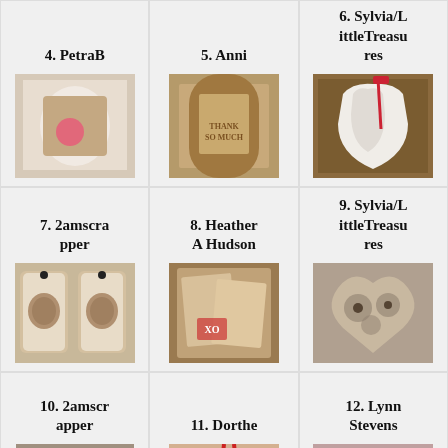4. PetraB
5. Anni
6. Sylvia/LittleTreasures
[Figure (photo): Scrapbook card with vintage woman image and pink heart]
[Figure (photo): Brown vintage t-shirt shaped craft with text]
[Figure (photo): White lacy shape with red ribbon and scissors on brown background]
7. 2amscrapper
8. Heather A Hudson
9. Sylvia/LittleTreasures
[Figure (photo): Two vintage tag crafts with portrait photos and lace]
[Figure (photo): Vintage letters and postcards craft]
[Figure (photo): Heart-shaped steampunk craft with gears]
10. 2amscrapper
11. Dorthe
12. Lynn Stevens
[Figure (photo): Vintage woman portrait mixed media card]
[Figure (photo): Valentine card with XO and bow]
[Figure (photo): Heart shaped craft with red and white elements]